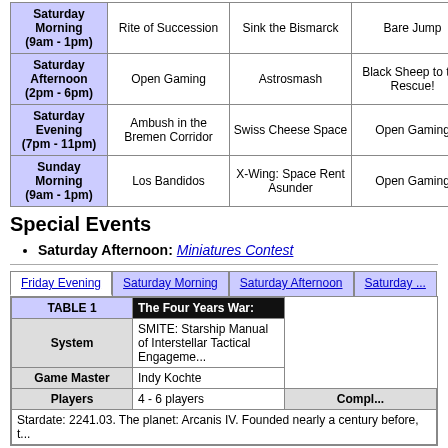| Time | Col1 | Col2 | Col3 | Col4 |
| --- | --- | --- | --- | --- |
| Saturday Morning (9am - 1pm) | Rite of Succession | Sink the Bismarck | Bare Jump | Open G... |
| Saturday Afternoon (2pm - 6pm) | Open Gaming | Astrosmash | Black Sheep to the Rescue! | Aliens M Battle: Da... |
| Saturday Evening (7pm - 11pm) | Ambush in the Bremen Corridor | Swiss Cheese Space | Open Gaming | Open G... |
| Sunday Morning (9am - 1pm) | Los Bandidos | X-Wing: Space Rent Asunder | Open Gaming | The A Crosso Leban... |
Special Events
Saturday Afternoon: Miniatures Contest
| TABLE 1 | The Four Years War: |
| --- | --- |
| System | SMITE: Starship Manual of Interstellar Tactical Engageme... |
| Game Master | Indy Kochte |
| Players | 4 - 6 players | Compl... |
| Stardate: 2241.03. The planet: Arcanis IV. Founded nearly a century before, t... |